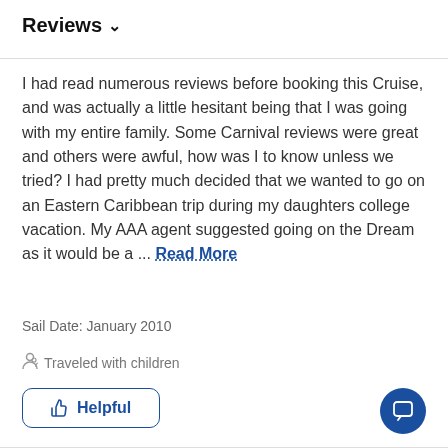Reviews ∨
I had read numerous reviews before booking this Cruise, and was actually a little hesitant being that I was going with my entire family. Some Carnival reviews were great and others were awful, how was I to know unless we tried? I had pretty much decided that we wanted to go on an Eastern Caribbean trip during my daughters college vacation. My AAA agent suggested going on the Dream as it would be a ... Read More
Sail Date: January 2010
Traveled with children
Helpful